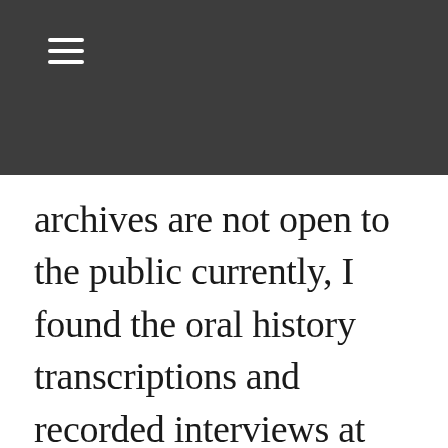☰
archives are not open to the public currently, I found the oral history transcriptions and recorded interviews at the GLBT Historical Society particularly powerful sources that gave you the same archival rush of wading through history from the comfort and safety of your own computer. Sources like oral history transcripts from gay GIs who went on first dates and interviews